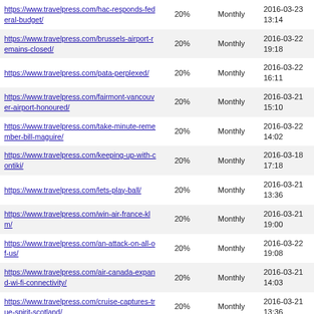| https://www.travelpress.com/hac-responds-federal-budget/ | 20% | Monthly | 2016-03-23 13:14 |
| https://www.travelpress.com/brussels-airport-remains-closed/ | 20% | Monthly | 2016-03-22 19:18 |
| https://www.travelpress.com/pata-perplexed/ | 20% | Monthly | 2016-03-22 16:11 |
| https://www.travelpress.com/fairmont-vancouver-airport-honoured/ | 20% | Monthly | 2016-03-21 15:10 |
| https://www.travelpress.com/take-minute-remember-bill-maguire/ | 20% | Monthly | 2016-03-22 14:02 |
| https://www.travelpress.com/keeping-up-with-contiki/ | 20% | Monthly | 2016-03-18 17:18 |
| https://www.travelpress.com/lets-play-ball/ | 20% | Monthly | 2016-03-21 13:36 |
| https://www.travelpress.com/win-air-france-klm/ | 20% | Monthly | 2016-03-21 19:00 |
| https://www.travelpress.com/an-attack-on-all-of-us/ | 20% | Monthly | 2016-03-22 19:08 |
| https://www.travelpress.com/air-canada-expand-wi-fi-connectivity/ | 20% | Monthly | 2016-03-21 14:03 |
| https://www.travelpress.com/cruise-captures-true-spirit-scotland/ | 20% | Monthly | 2016-03-21 13:36 |
| https://www.travelpress.com/tico-agm-set-june-21/ | 20% | Monthly | 2016-03-22 13:16 |
| https://www.travelpress.com/rail-europe-rewards-agents-swiss-bookings/ | 20% | Monthly | 2016-03-21 20:23 |